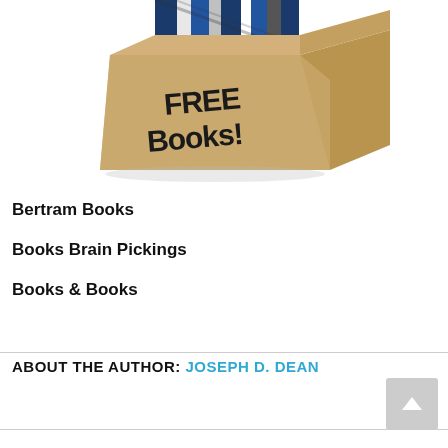[Figure (photo): A cardboard box filled with books labeled 'FREE Books!' in bold handwritten text on the side.]
Bertram Books
Books Brain Pickings
Books & Books
ABOUT THE AUTHOR: JOSEPH D. DEAN